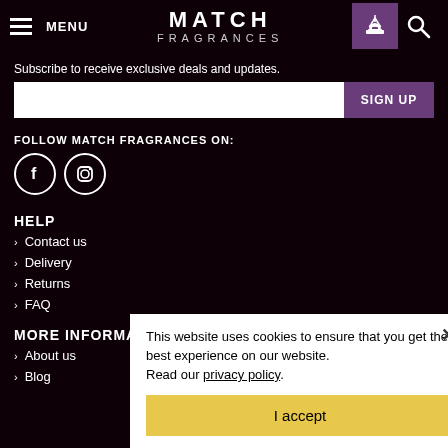MENU | MATCH FRAGRANCES
Subscribe to receive exclusive deals and updates.
SIGN UP
FOLLOW MATCH FRAGRANCES ON:
[Figure (illustration): Facebook and Instagram social media icons (circles with f and camera icons)]
HELP
Contact us
Delivery
Returns
FAQ
MORE INFORMATION
About us
Blog
This website uses cookies to ensure that you get the best experience on our website. Read our privacy policy.
I accept